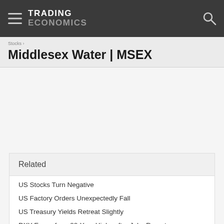TRADING ECONOMICS
Middlesex Water | MSEX
Related
US Stocks Turn Negative
US Factory Orders Unexpectedly Fall
US Treasury Yields Retreat Slightly
DXY Eases from 20-Year Highs after Jobs Report
US Wages Rise Less Than Expected
US Jobless Rate Unexpectedly Rises to 6-Month High
US Labour Market Remains Strong
US Construction Spending Falls for 2nd Month
US Factory Growth Tops Expectations (3Mu...